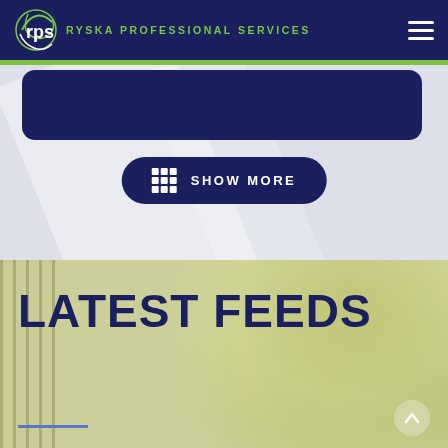RYSKA PROFESSIONAL SERVICES
[Figure (screenshot): Dark navy rounded card element, partially visible at top of content area]
SHOW MORE
LATEST FEEDS